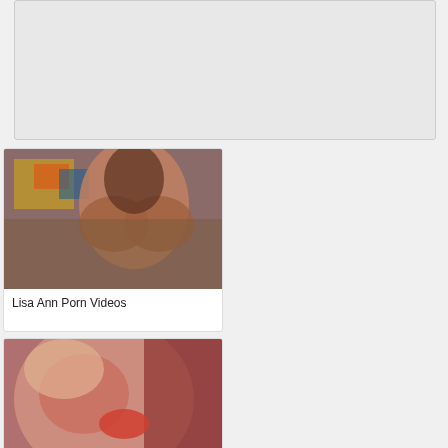[Figure (other): Advertisement banner placeholder, light gray box]
[Figure (photo): Lisa Ann Porn Videos - thumbnail of woman posing]
Lisa Ann Porn Videos
[Figure (photo): Dirty sexy chick gets cumshots and pissing - thumbnail]
Dirty sexy chick gets cumshots and pissing
[Figure (photo): Angelica would like to please a - thumbnail of classroom scene]
Angelica would like to please a
[Figure (photo): Lovely teenie filled with warm - thumbnail]
Lovely teenie filled with warm